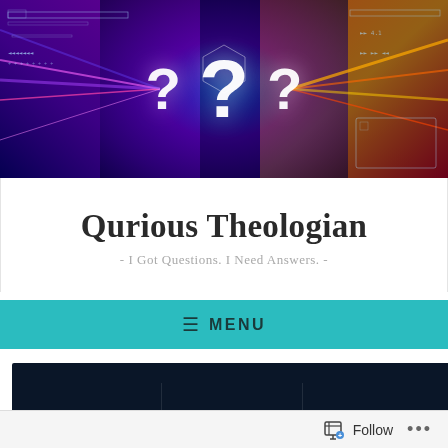[Figure (photo): Website header banner with colorful light trails, tunnel effect with blue, purple, orange and red tones, with large white question mark symbols overlay and digital HUD graphics]
Qurious Theologian
- I Got Questions. I Need Answers. -
≡ MENU
[Figure (illustration): Dark navy banner with decorative hand-lettered text in pink and white reading 'you are more', 'love', and 'Mental' with swirling decorative elements]